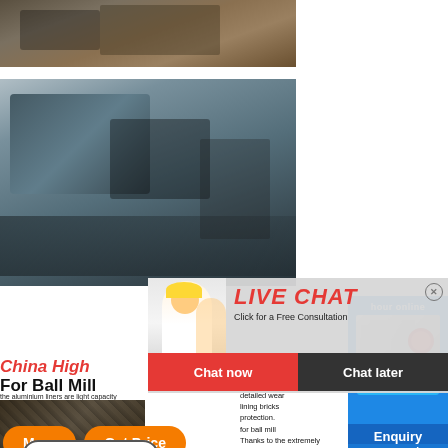[Figure (photo): Top strip showing dark industrial machinery on a warehouse floor]
[Figure (photo): Large industrial rock-crushing machinery in blue-grey tones, outdoor/industrial setting]
[Figure (screenshot): Live Chat popup overlay showing workers in hard hats, red LIVE CHAT title, 'Click for a Free Consultation' subtitle, and Chat now / Chat later buttons]
China High
For Ball Mill
high for type Most alumina detailed wear lining bricks protection. for ball mill Thanks to the extremely
hour online
[Figure (photo): Industrial crusher machine product image shown in right sidebar on blue background]
Click me to chat>>
Enquiry
yuwencrusher
More
Get Price
Email contact
[Figure (photo): Bottom strip showing dark machinery image]